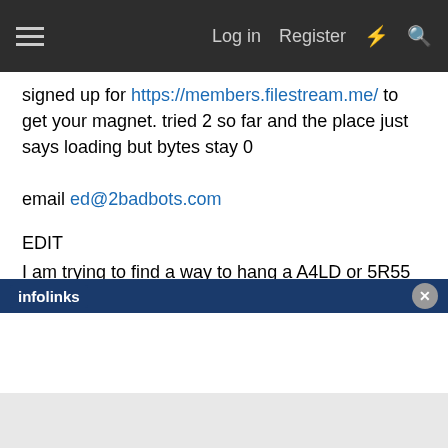Log in  Register
signed up for https://members.filestream.me/ to get your magnet. tried 2 so far and the place just says loading but bytes stay 0

email ed@2badbots.com
EDIT
I am trying to find a way to hang a A4LD or 5R55 behind a 1966 200 I6 it has big and little bell bolt patterns. I would like the extra speeds, overdrive, and lockup converter. I am a bit confused about what bell housing will bolt to my block and one of the newer 4 or 5 speeds. A unelectric/computer free transmission is will ECM if I have too.